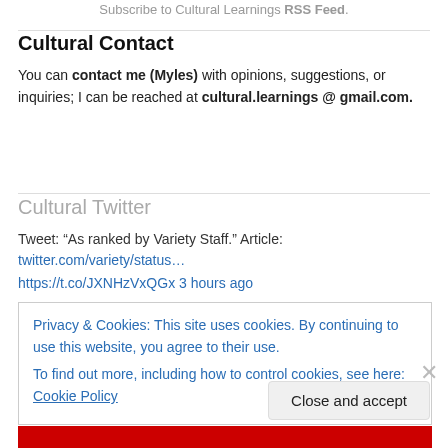Subscribe to Cultural Learnings RSS Feed.
Cultural Contact
You can contact me (Myles) with opinions, suggestions, or inquiries; I can be reached at cultural.learnings @ gmail.com.
Cultural Twitter
Tweet: “As ranked by Variety Staff.” Article: twitter.com/variety/status…
https://t.co/JXNHzVxQGx 3 hours ago
Privacy & Cookies: This site uses cookies. By continuing to use this website, you agree to their use.
To find out more, including how to control cookies, see here: Cookie Policy
Close and accept